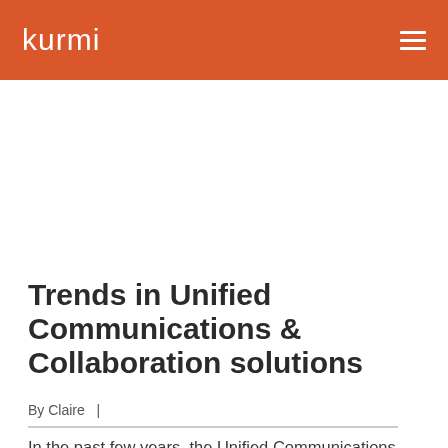kurmi
Trends in Unified Communications & Collaboration solutions
By Claire  |
In the past few years, the Unified Communications market has widened. New players have appeared. More and more companies are giving...